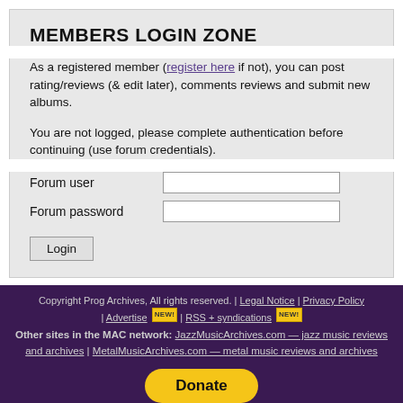MEMBERS LOGIN ZONE
As a registered member (register here if not), you can post rating/reviews (& edit later), comments reviews and submit new albums.
You are not logged, please complete authentication before continuing (use forum credentials).
Forum user [input] Forum password [input] Login [button]
Copyright Prog Archives, All rights reserved. | Legal Notice | Privacy Policy | Advertise NEW! | RSS + syndications NEW! Other sites in the MAC network: JazzMusicArchives.com — jazz music reviews and archives | MetalMusicArchives.com — metal music reviews and archives Donate monthly and keep PA fast-loading and ad-free forever.